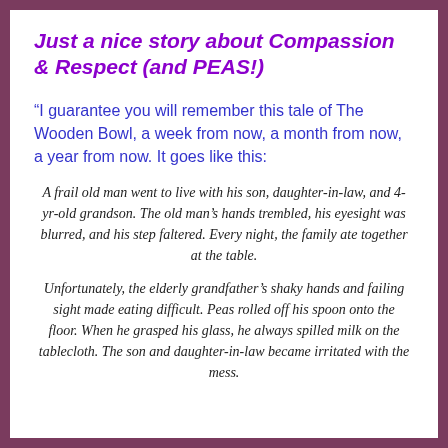Just a nice story about Compassion & Respect (and PEAS!)
“I guarantee you will remember this tale of The Wooden Bowl, a week from now, a month from now, a year from now. It goes like this:
A frail old man went to live with his son, daughter-in-law, and 4-yr-old grandson. The old man’s hands trembled, his eyesight was blurred, and his step faltered. Every night, the family ate together at the table.
Unfortunately, the elderly grandfather’s shaky hands and failing sight made eating difficult. Peas rolled off his spoon onto the floor. When he grasped his glass, he always spilled milk on the tablecloth. The son and daughter-in-law became irritated with the mess.